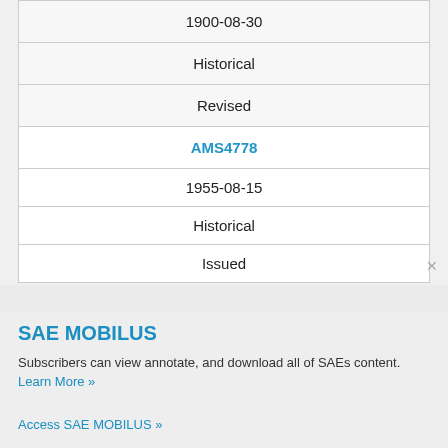| 1900-08-30 | Historical | Revised |
| AMS4778 | 1955-08-15 | Historical | Issued |
SAE MOBILUS
Subscribers can view annotate, and download all of SAEs content.
Learn More »
Access SAE MOBILUS »